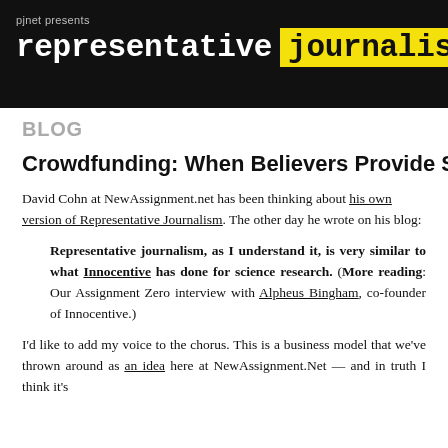pjnet presents representative journalism
BLOG
Crowdfunding: When Believers Provide Support
David Cohn at NewAssignment.net has been thinking about his own version of Representative Journalism. The other day he wrote on his blog:
Representative journalism, as I understand it, is very similar to what Innocentive has done for science research. (More reading: Our Assignment Zero interview with Alpheus Bingham, co-founder of Innocentive.)
I'd like to add my voice to the chorus. This is a business model that we've thrown around as an idea here at NewAssignment.Net — and in truth I think it's